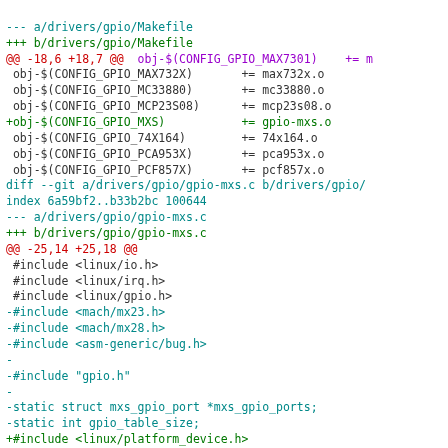--- a/drivers/gpio/Makefile
+++ b/drivers/gpio/Makefile
@@ -18,6 +18,7 @@ obj-$(CONFIG_GPIO_MAX7301)   += m
 obj-$(CONFIG_GPIO_MAX732X)      += max732x.o
 obj-$(CONFIG_GPIO_MC33880)      += mc33880.o
 obj-$(CONFIG_GPIO_MCP23S08)     += mcp23s08.o
+obj-$(CONFIG_GPIO_MXS)          += gpio-mxs.o
 obj-$(CONFIG_GPIO_74X164)       += 74x164.o
 obj-$(CONFIG_GPIO_PCA953X)      += pca953x.o
 obj-$(CONFIG_GPIO_PCF857X)      += pcf857x.o
diff --git a/drivers/gpio/gpio-mxs.c b/drivers/gpio/
index 6a59bf2..b33b2bc 100644
--- a/drivers/gpio/gpio-mxs.c
+++ b/drivers/gpio/gpio-mxs.c
@@ -25,14 +25,18 @@
 #include <linux/io.h>
 #include <linux/irq.h>
 #include <linux/gpio.h>
-#include <mach/mx23.h>
-#include <mach/mx28.h>
-#include <asm-generic/bug.h>
-
-#include "gpio.h"
-
-static struct mxs_gpio_port *mxs_gpio_ports;
-static int gpio_table_size;
+#include <linux/platform_device.h>
+#include <linux/slab.h>
+#include <mach/mxs.h>
+
+struct mxs_gpio_port {
+       void   iomem *base;